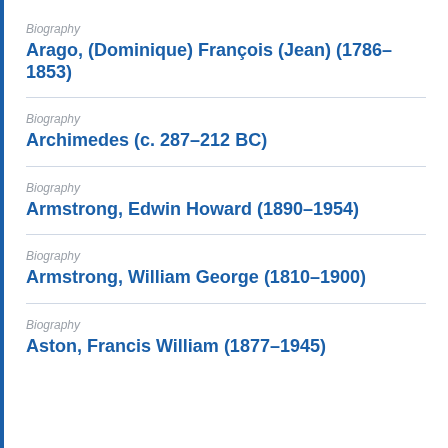Biography
Arago, (Dominique) François (Jean) (1786–1853)
Biography
Archimedes (c. 287–212 BC)
Biography
Armstrong, Edwin Howard (1890–1954)
Biography
Armstrong, William George (1810–1900)
Biography
Aston, Francis William (1877–1945)